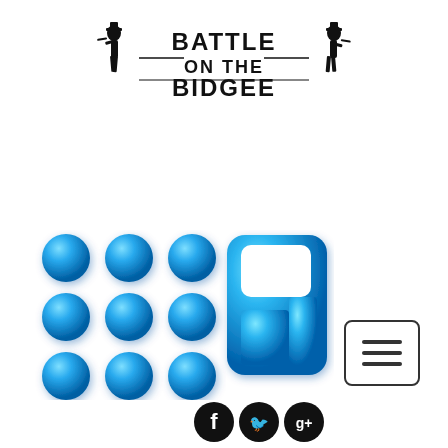[Figure (logo): Battle on the Bidgee logo with two cowboy silhouettes flanking stylized bold text reading BATTLE ON THE BIDGEE]
[Figure (logo): Channel 9 Australia logo: 3x3 grid of blue spherical dots on the left, and a large blue glossy numeral 9 on the right]
[Figure (other): Hamburger menu button: rounded rectangle with three horizontal lines icon]
[Figure (other): Social media icons: Facebook (f), Twitter (bird), Google+ (g+) in dark circular buttons, partially visible at bottom]